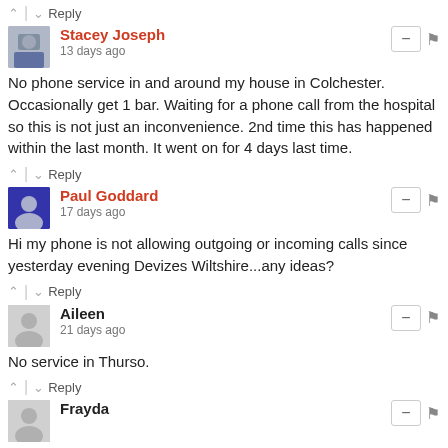↑ | ↓ Reply
Stacey Joseph
13 days ago
No phone service in and around my house in Colchester. Occasionally get 1 bar. Waiting for a phone call from the hospital so this is not just an inconvenience. 2nd time this has happened within the last month. It went on for 4 days last time.
↑ | ↓ Reply
Paul Goddard
17 days ago
Hi my phone is not allowing outgoing or incoming calls since yesterday evening Devizes Wiltshire...any ideas?
↑ | ↓ Reply
Aileen
21 days ago
No service in Thurso.
↑ | ↓ Reply
Frayda
24 days ago